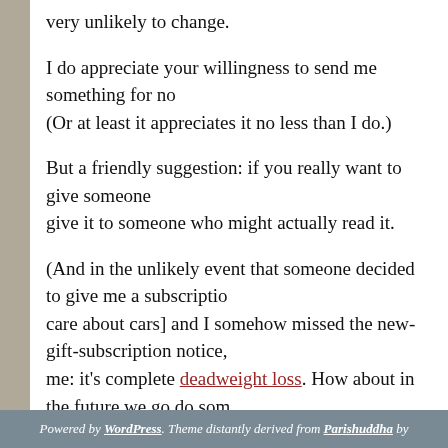very unlikely to change.
I do appreciate your willingness to send me something for no (Or at least it appreciates it no less than I do.)
But a friendly suggestion: if you really want to give someone give it to someone who might actually read it.
(And in the unlikely event that someone decided to give me a subscriptio care about cars] and I somehow missed the new-gift-subscription notice, me: it's complete deadweight loss. How about in the future we go do som instead?)
Older »
Powered by WordPress. Theme distantly derived from Parishuddha by